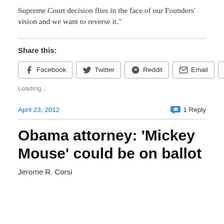Supreme Court decision flies in the face of our Founders’ vision and we want to reverse it.”
Share this:
Facebook  Twitter  Reddit  Email  Print
Loading...
April 23, 2012   1 Reply
Obama attorney: ‘Mickey Mouse’ could be on ballot
Jerome R. Corsi